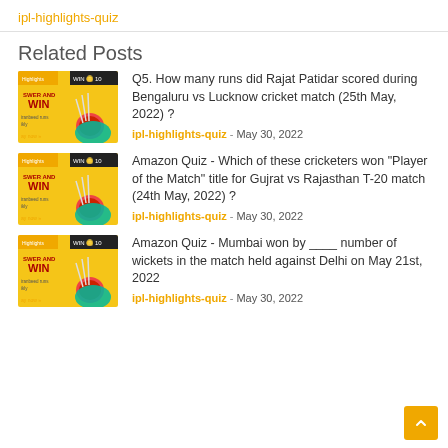ipl-highlights-quiz
Related Posts
Q5. How many runs did Rajat Patidar scored during Bengaluru vs Lucknow cricket match (25th May, 2022) ?
Amazon Quiz - Which of these cricketers won "Player of the Match" title for Gujrat vs Rajasthan T-20 match (24th May, 2022) ?
Amazon Quiz - Mumbai won by ____ number of wickets in the match held against Delhi on May 21st, 2022